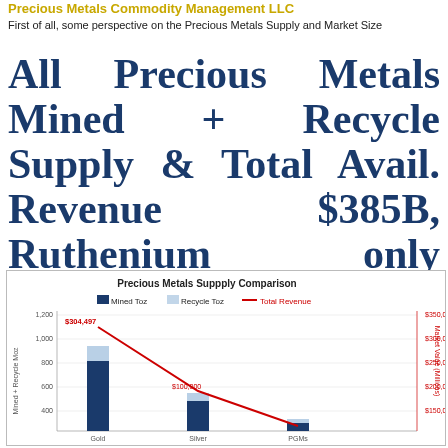Precious Metals Commodity Management LLC
First of all, some perspective on the Precious Metals Supply and Market Size
All Precious Metals Mined + Recycle Supply & Total Avail. Revenue $385B, Ruthenium only $743M.
[Figure (grouped-bar-chart): Precious Metals Suppply Comparison]